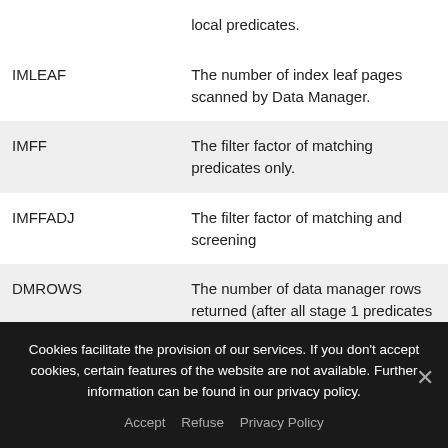| Column | Description |
| --- | --- |
|  | local predicates. |
| IMLEAF | The number of index leaf pages scanned by Data Manager. |
| IMFF | The filter factor of matching predicates only. |
| IMFFADJ | The filter factor of matching and screening |
| DMROWS | The number of data manager rows returned (after all stage 1 predicates are |
Cookies facilitate the provision of our services. If you don't accept cookies, certain features of the website are not available. Further information can be found in our privacy policy.
Accept   Refuse   Privacy Policy